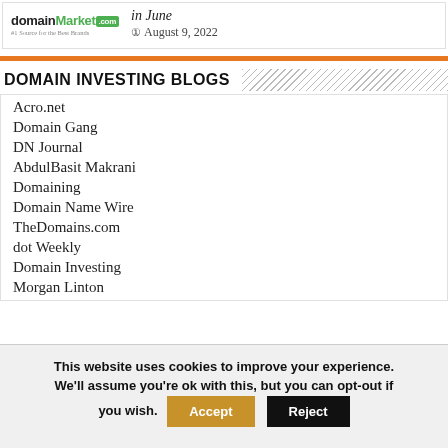DomainMarket.com #1 Source for the Best Brands — in June — August 9, 2022
DOMAIN INVESTING BLOGS
Acro.net
Domain Gang
DN Journal
AbdulBasit Makrani
Domaining
Domain Name Wire
TheDomains.com
dot Weekly
Domain Investing
Morgan Linton
This website uses cookies to improve your experience. We'll assume you're ok with this, but you can opt-out if you wish. [Accept] [Reject]